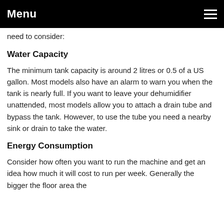Menu
need to consider:
Water Capacity
The minimum tank capacity is around 2 litres or 0.5 of a US gallon. Most models also have an alarm to warn you when the tank is nearly full. If you want to leave your dehumidifier unattended, most models allow you to attach a drain tube and bypass the tank. However, to use the tube you need a nearby sink or drain to take the water.
Energy Consumption
Consider how often you want to run the machine and get an idea how much it will cost to run per week. Generally the bigger the floor area the